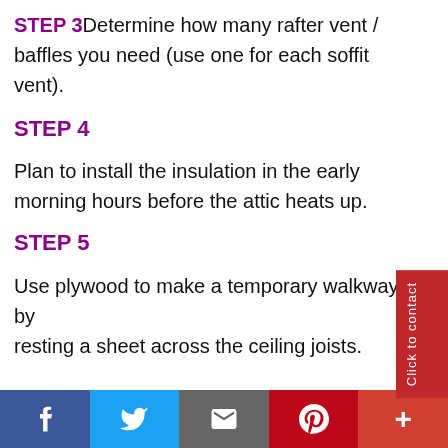STEP 3 Determine how many rafter vent / baffles you need (use one for each soffit vent).
STEP 4
Plan to install the insulation in the early morning hours before the attic heats up.
STEP 5
Use plywood to make a temporary walkway by resting a sheet across the ceiling joists.
[Figure (other): Red vertical side tab with text 'Click to contact']
[Figure (other): Social media share bar with Facebook, Twitter, Email, Pinterest, and More (+) buttons]